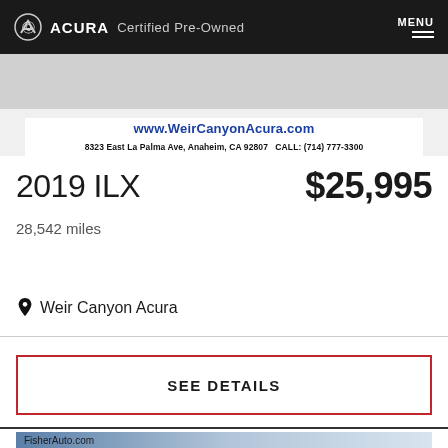ACURA Certified Pre-Owned  MENU
[Figure (photo): Partial car image with dealer banner showing www.WeirCanyonAcura.com and address 8323 East La Palma Ave, Anaheim, CA 92807 CALL: (714) 777-3300]
2019 ILX
$25,995
28,542 miles
Weir Canyon Acura
SEE DETAILS
FisherAuto.com